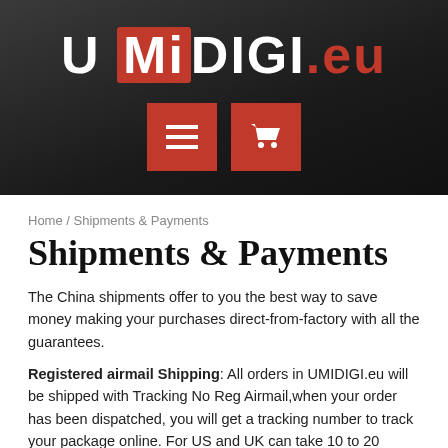[Figure (logo): UMiDIGI.eu website logo with navigation buttons on dark background]
Home / Shipments & Payments
Shipments & Payments
The China shipments offer to you the best way to save money making your purchases direct-from-factory with all the guarantees.
Registered airmail Shipping: All orders in UMIDIGI.eu will be shipped with Tracking No Reg Airmail,when your order has been dispatched, you will get a tracking number to track your package online. For US and UK can take 10 to 20 working days. South Africa (excluding overseas territories), takes